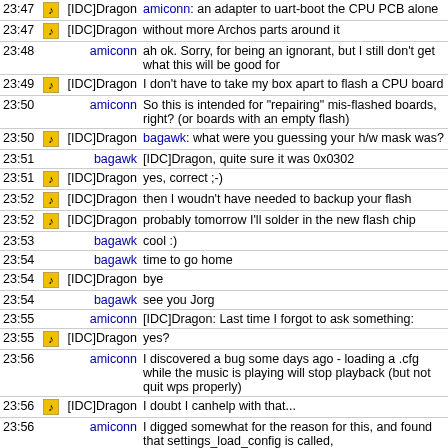| time | icon | nick | message |
| --- | --- | --- | --- |
| 23:47 | icon | [IDC]Dragon | amiconn: an adapter to uart-boot the CPU PCB alone |
| 23:47 | icon | [IDC]Dragon | without more Archos parts around it |
| 23:48 |  | amiconn | ah ok. Sorry, for being an ignorant, but I still don't get what this will be good for |
| 23:49 | icon | [IDC]Dragon | I don't have to take my box apart to flash a CPU board |
| 23:50 |  | amiconn | So this is intended for "repairing" mis-flashed boards, right? (or boards with an empty flash) |
| 23:50 | icon | [IDC]Dragon | bagawk: what were you guessing your h/w mask was? |
| 23:51 |  | bagawk | [IDC]Dragon, quite sure it was 0x0302 |
| 23:51 | icon | [IDC]Dragon | yes, correct ;-) |
| 23:52 | icon | [IDC]Dragon | then I woudn't have needed to backup your flash |
| 23:52 | icon | [IDC]Dragon | probably tomorrow I'll solder in the new flash chip |
| 23:53 |  | bagawk | cool :) |
| 23:54 |  | bagawk | time to go home |
| 23:54 | icon | [IDC]Dragon | bye |
| 23:54 |  | bagawk | see you Jorg |
| 23:55 |  | amiconn | [IDC]Dragon: Last time I forgot to ask something: |
| 23:55 | icon | [IDC]Dragon | yes? |
| 23:56 |  | amiconn | I discovered a bug some days ago - loading a .cfg while the music is playing will stop playback (but not quit wps properly) |
| 23:56 | icon | [IDC]Dragon | I doubt I canhelp with that... |
| 23:56 |  | amiconn | I digged somewhat for the reason for this, and found that settings_load_config is called, |